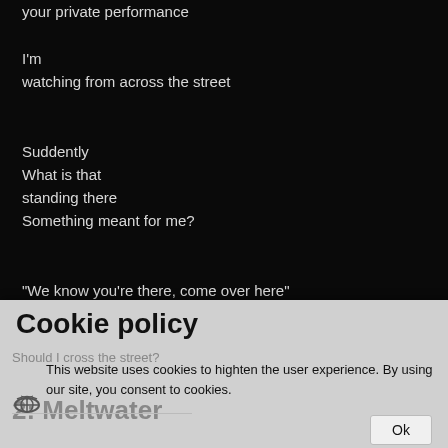your private performance

I'm
watching from across the street

Suddently
What is that
standing there
Something meant for me?

"We know you're there, come over here"
said the note
In their bedroom window
Cookie policy
Should I cross the street?
This website uses cookies to highten the user experience. By using our site, you consent to cookies.
2: Meltwater
Ok